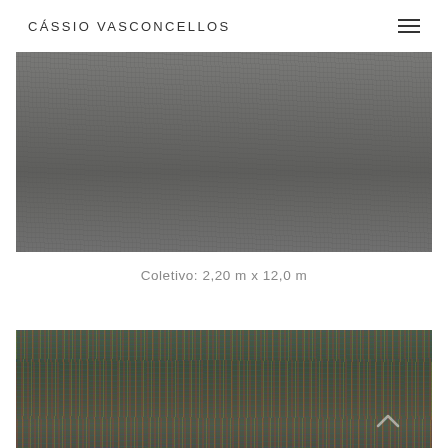CÁSSIO VASCONCELLOS
[Figure (photo): Aerial photograph of densely packed cars, rendered in dark grey/muted tones — detail of large-format artwork by Cássio Vasconcellos]
Coletivo: 2,20 m x 12,0 m
[Figure (photo): Aerial photograph of densely packed cars in vivid colors (red, green, yellow, blue, white) — detail of large-format artwork by Cássio Vasconcellos]